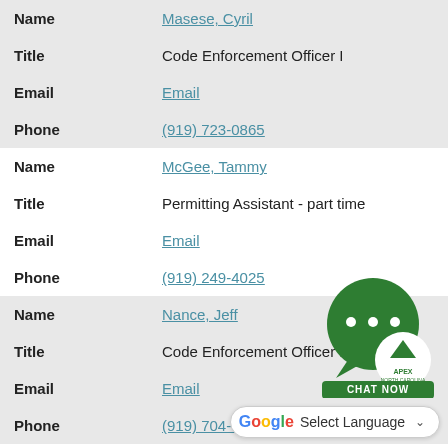| Name | Masese, Cyril |
| Title | Code Enforcement Officer I |
| Email | Email |
| Phone | (919) 723-0865 |
| Name | McGee, Tammy |
| Title | Permitting Assistant - part time |
| Email | Email |
| Phone | (919) 249-4025 |
| Name | Nance, Jeff |
| Title | Code Enforcement Officer I |
| Email | Email |
| Phone | (919) 704-0896 |
[Figure (other): Apex North Carolina chat now widget — green speech bubble with three dots, Apex logo badge, and green 'CHAT NOW' button]
[Figure (other): Google Translate widget with 'Select Language' dropdown]